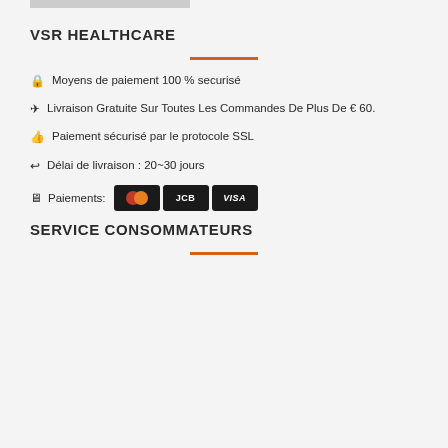VSR HEALTHCARE
Moyens de paiement 100 % securisé
Livraison Gratuite Sur Toutes Les Commandes De Plus De € 60.
Paiement sécurisé par le protocole SSL
Délai de livraison : 20~30 jours
Paiements: [Mastercard] [JCB] [VISA]
SERVICE CONSOMMATEURS